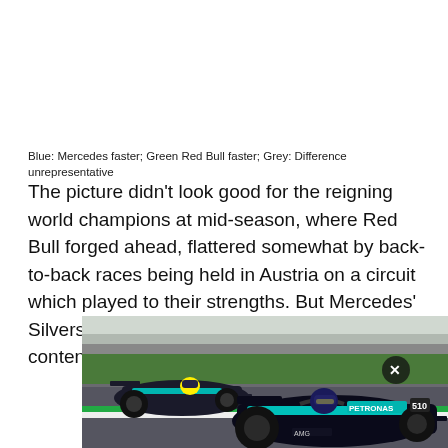Blue: Mercedes faster; Green Red Bull faster; Grey: Difference unrepresentative
The picture didn't look good for the reigning world champions at mid-season, where Red Bull forged ahead, flattered somewhat by back-to-back races being held in Austria on a circuit which played to their strengths. But Mercedes' Silverstone upgrade brought them back into contention.
[Figure (photo): Two Mercedes F1 cars racing on a circuit, with green grass and barriers in the background. The foreground car shows PETRONAS branding. A close/X button is visible in the upper right of the image.]